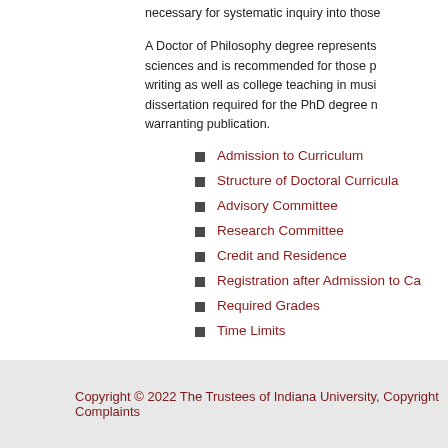necessary for systematic inquiry into those
A Doctor of Philosophy degree represents sciences and is recommended for those p writing as well as college teaching in musi dissertation required for the PhD degree n warranting publication.
Admission to Curriculum
Structure of Doctoral Curricula
Advisory Committee
Research Committee
Credit and Residence
Registration after Admission to Ca
Required Grades
Time Limits
Copyright © 2022 The Trustees of Indiana University, Copyright Complaints